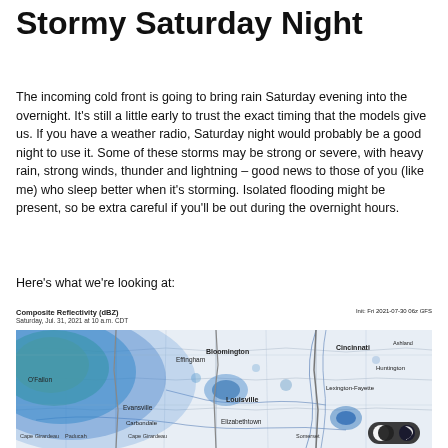Stormy Saturday Night
The incoming cold front is going to bring rain Saturday evening into the overnight. It's still a little early to trust the exact timing that the models give us. If you have a weather radio, Saturday night would probably be a good night to use it. Some of these storms may be strong or severe, with heavy rain, strong winds, thunder and lightning – good news to those of you (like me) who sleep better when it's storming. Isolated flooding might be present, so be extra careful if you'll be out during the overnight hours.
Here's what we're looking at:
[Figure (map): Composite Reflectivity (dBZ) radar map showing storm system approaching from the west, Saturday, Jul. 31, 2021 at 10 a.m. CDT. Shows heavy precipitation (blue/green/yellow colors) over Illinois, Indiana, and surrounding states. Init: Fri 2021-07-30 06z GFS.]